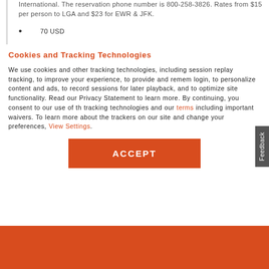International. The reservation phone number is 800-258-3826. Rates from $15 per person to LGA and $23 for EWR & JFK.
70 USD
Cookies and Tracking Technologies
We use cookies and other tracking technologies, including session replay tracking, to improve your experience, to provide and remember login, to personalize content and ads, to record sessions for later playback, and to optimize site functionality. Read our Privacy Statement to learn more. By continuing, you consent to our use of the tracking technologies and our terms including important waivers. To learn more about the trackers on our site and change your preferences, View Settings.